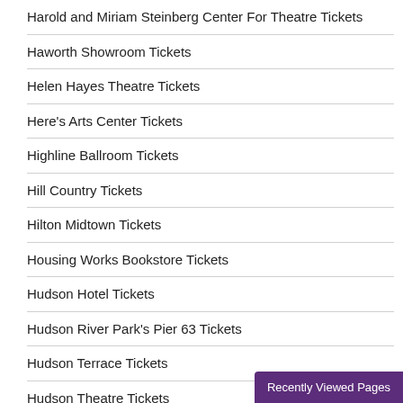Harold and Miriam Steinberg Center For Theatre Tickets
Haworth Showroom Tickets
Helen Hayes Theatre Tickets
Here's Arts Center Tickets
Highline Ballroom Tickets
Hill Country Tickets
Hilton Midtown Tickets
Housing Works Bookstore Tickets
Hudson Hotel Tickets
Hudson River Park's Pier 63 Tickets
Hudson Terrace Tickets
Hudson Theatre Tickets
Icahn Stadium Tickets
Ice Rink at Rockefeller Center Tickets
iHeartRadio Theater Tickets
Recently Viewed Pages